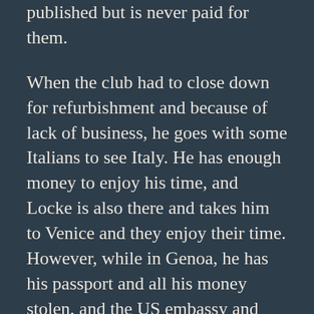published but is never paid for them.
When the club had to close down for refurbishment and because of lack of business, he goes with some Italians to see Italy. He has enough money to enjoy his time, and Locke is also there and takes him to Venice and they enjoy their time. However, while in Genoa, he has his passport and all his money stolen, and the US embassy and consulate refuse to help him, so he lives homeless and in poverty, unable to get a job that will pay him enough to either get back to France or to find safe passage to America. He finally gets passage as a workman on a ship bound for NYC, and he is nearly kicked off in Spain for being late back to the ship, but he makes it back to the US